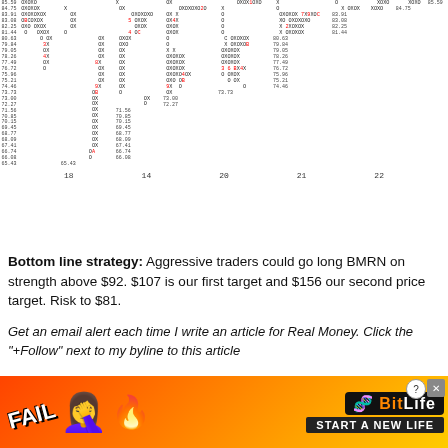[Figure (other): Point and Figure (P&F) chart for BMRN stock showing X and O columns with price levels from approximately 65.43 to 85.59, with columns labeled 18, 14, 20, 21, 22 along the x-axis. Red numbers indicate buy signals and column counts.]
Bottom line strategy: Aggressive traders could go long BMRN on strength above $92. $107 is our first target and $156 our second price target. Risk to $81.
Get an email alert each time I write an article for Real Money. Click the "+Follow" next to my byline to this article
[Figure (infographic): BitLife advertisement banner with FAIL text, cartoon emoji, flames, and 'START A NEW LIFE' tagline on orange/fire background]